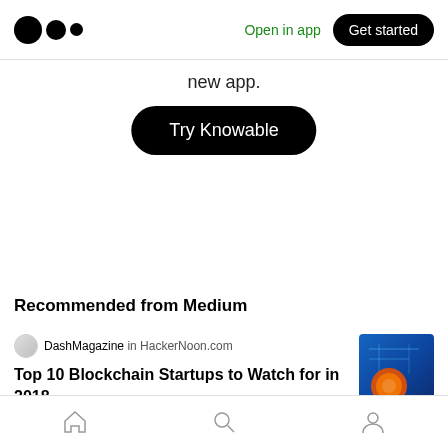Medium logo | Open in app | Get started
new app.
Try Knowable
Recommended from Medium
DashMagazine in HackerNoon.com
Top 10 Blockchain Startups to Watch for in 2018
[Figure (illustration): Article thumbnail showing blockchain/tech imagery with orange and blue tones]
Bottom navigation: Home, Search, Profile